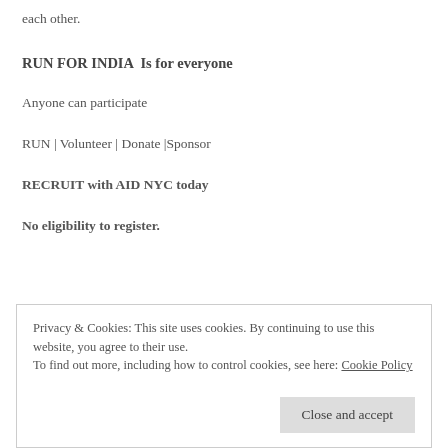each other.
RUN FOR INDIA  Is for everyone
Anyone can participate
RUN | Volunteer | Donate |Sponsor
RECRUIT with AID NYC today
No eligibility to register.
Privacy & Cookies: This site uses cookies. By continuing to use this website, you agree to their use.
To find out more, including how to control cookies, see here: Cookie Policy
Close and accept